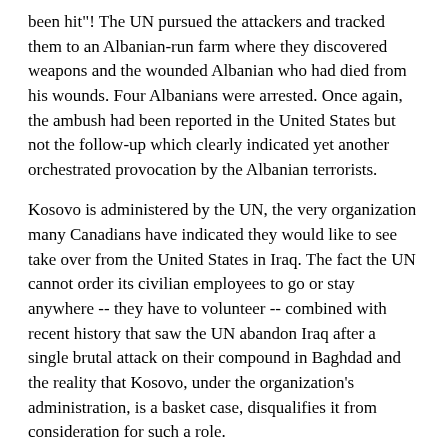been hit"! The UN pursued the attackers and tracked them to an Albanian-run farm where they discovered weapons and the wounded Albanian who had died from his wounds. Four Albanians were arrested. Once again, the ambush had been reported in the United States but not the follow-up which clearly indicated yet another orchestrated provocation by the Albanian terrorists.
Kosovo is administered by the UN, the very organization many Canadians have indicated they would like to see take over from the United States in Iraq. The fact the UN cannot order its civilian employees to go or stay anywhere -- they have to volunteer -- combined with recent history that saw the UN abandon Iraq after a single brutal attack on their compound in Baghdad and the reality that Kosovo, under the organization's administration, is a basket case, disqualifies it from consideration for such a role.
Since the NATO/UN intervention in 1999, Kosovo has become the crime capital of Europe. The sex slave trade is flourishing. The province has become an invaluable transit point for drugs en route to Europe and North America. Ironically, the majority of the drugs come from another state "liberated" by the West, Afghanistan. Members of the demobilized, but not eliminated, KLA are intimately involved in organized crime and the government. The UN police arrest a small percentage of those involved in criminal activities and turn them over to a judiciary with a revolving door